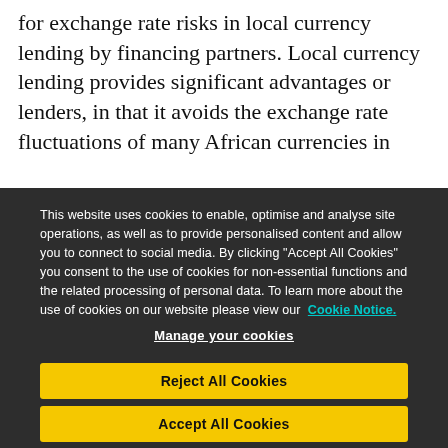for exchange rate risks in local currency lending by financing partners. Local currency lending provides significant advantages or lenders, in that it avoids the exchange rate fluctuations of many African currencies in
This website uses cookies to enable, optimise and analyse site operations, as well as to provide personalised content and allow you to connect to social media. By clicking "Accept All Cookies" you consent to the use of cookies for non-essential functions and the related processing of personal data. To learn more about the use of cookies on our website please view our Cookie Notice.
Manage your cookies
Reject All Cookies
Accept All Cookies